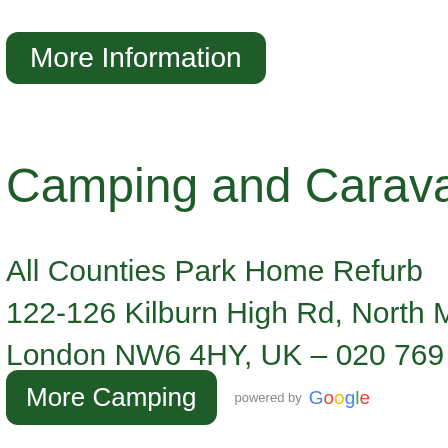More Information
Camping and Caravani…
All Counties Park Home Refurb
122-126 Kilburn High Rd, North M
London NW6 4HY, UK – 020 769…
More Camping
[Figure (logo): powered by Google logo]